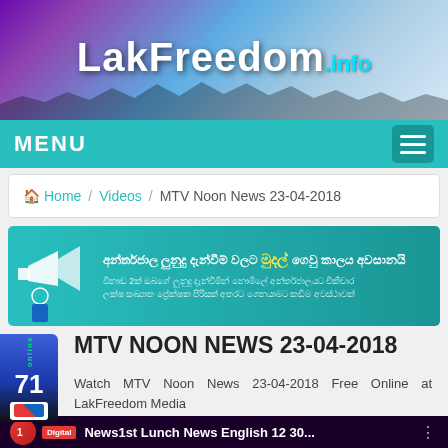LakFreedom.info
MENU
Home / Videos / MTV Noon News 23-04-2018
[Figure (infographic): Advertisement banner in teal/green with Sinhala text about online earning opportunities and a megaphone/businessman graphic]
MTV NOON NEWS 23-04-2018
Watch MTV Noon News 23-04-2018 Free Online at LakFreedom Media
[Figure (screenshot): Video thumbnail showing News1st Lunch News English 12:30 with a female news presenter, Digital logo in top left corner]